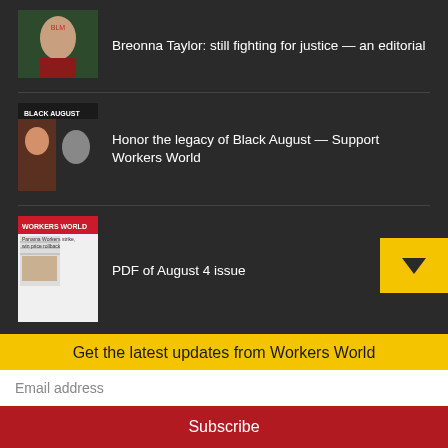Breonna Taylor: still fighting for justice — an editorial
Honor the legacy of Black August — Support Workers World
PDF of August 4 issue
Print issue returns
Due to the COVID-19 pandemic, Workers World suspended printing and mailing of the newspaper in March 2020. We have continued publishing articles on workers.org, along with a weekly PDF of what would have been the printed version. We are pleased to announce that we have resumed printing and mailing on a monthly basis, fo
Get the latest updates from Workers World
Email address
Subscribe